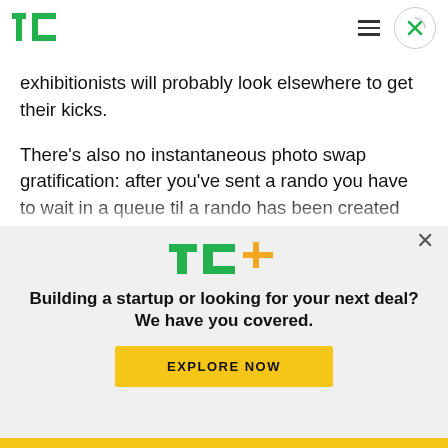TechCrunch
exhibitionists will probably look elsewhere to get their kicks.
There's also no instantaneous photo swap gratification: after you've sent a rando you have to wait in a queue til a rando has been created that can be sent to you. So at quieter times you could be waiting hours. Which doesn't sound like the ideal
[Figure (logo): TC+ logo — green TC letters with orange plus sign]
Building a startup or looking for your next deal? We have you covered.
EXPLORE NOW